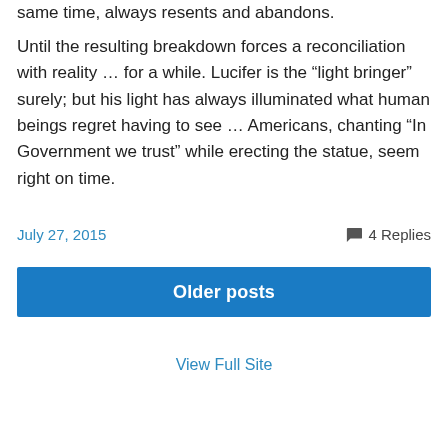same time, always resents and abandons.
Until the resulting breakdown forces a reconciliation with reality … for a while. Lucifer is the “light bringer” surely; but his light has always illuminated what human beings regret having to see … Americans, chanting “In Government we trust” while erecting the statue, seem right on time.
July 27, 2015
4 Replies
Older posts
View Full Site